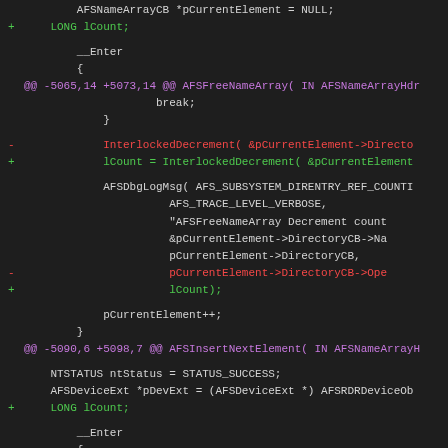[Figure (screenshot): Code diff view showing C/C++ source changes with syntax highlighting. Lines shown include variable declarations, function calls (InterlockedDecrement, AFSDbgLogMsg, AFSInsertNextElement, AFSFreeNameArray), and diff hunk headers. Added lines in green, removed lines in red, hunk headers in magenta, normal code in light gray, on a dark background.]